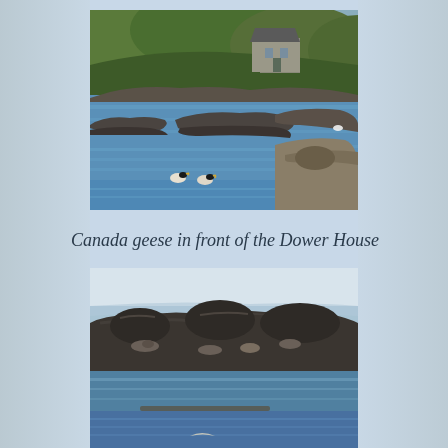[Figure (photo): Coastal scene showing blue water with rocky outcrops, seabirds (Canada geese) swimming, and a stone house (Dower House) visible among trees on the far shore]
Canada geese in front of the Dower House
[Figure (photo): Coastal scene with large dark rocky outcrops in the foreground, seals resting on rocks, calm water, and a distant hazy shoreline]